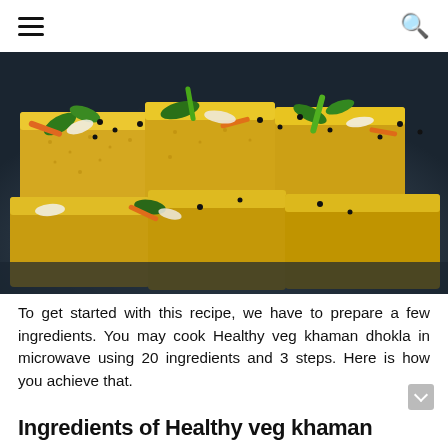☰  🔍
[Figure (photo): Close-up photo of Healthy veg khaman dhokla pieces garnished with mustard seeds, shredded coconut, grated carrot, green chilies, and curry leaves on a dark plate.]
To get started with this recipe, we have to prepare a few ingredients. You may cook Healthy veg khaman dhokla in microwave using 20 ingredients and 3 steps. Here is how you achieve that.
Ingredients of Healthy veg khaman